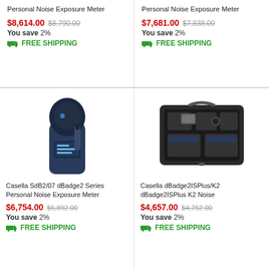Personal Noise Exposure Meter
$8,614.00  $8,790.00
You save 2%
FREE SHIPPING
Personal Noise Exposure Meter
$7,681.00  $7,838.00
You save 2%
FREE SHIPPING
[Figure (photo): Casella SdB2/07 dBadge2 Series Personal Noise Exposure Meter - handheld blue device with round microphone head]
Casella SdB2/07 dBadge2 Series Personal Noise Exposure Meter
$6,754.00  $6,892.00
You save 2%
FREE SHIPPING
[Figure (photo): Casella dBadge2ISPlus/K2 dBadge2ISPlus K2 Noise - open black carrying case with instruments inside]
Casella dBadge2ISPlus/K2 dBadge2ISPlus K2 Noise
$4,657.00  $4,752.00
You save 2%
FREE SHIPPING